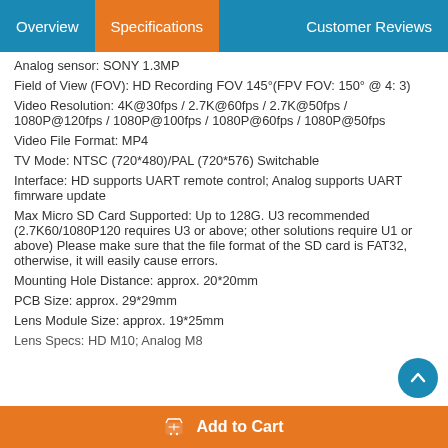Overview  Specifications  Customer Reviews
Analog sensor: SONY 1.3MP
Field of View (FOV): HD Recording FOV 145°(FPV FOV: 150° @ 4: 3)
Video Resolution: 4K@30fps / 2.7K@60fps / 2.7K@50fps / 1080P@120fps / 1080P@100fps / 1080P@60fps / 1080P@50fps
Video File Format: MP4
TV Mode: NTSC (720*480)/PAL (720*576) Switchable
Interface: HD supports UART remote control; Analog supports UART fimrware update
Max Micro SD Card Supported: Up to 128G. U3 recommended (2.7K60/1080P120 requires U3 or above; other solutions require U1 or above) Please make sure that the file format of the SD card is FAT32, otherwise, it will easily cause errors.
Mounting Hole Distance: approx. 20*20mm
PCB Size: approx. 29*29mm
Lens Module Size: approx. 19*25mm
Lens Specs: HD M10; Analog M8
Add to Cart